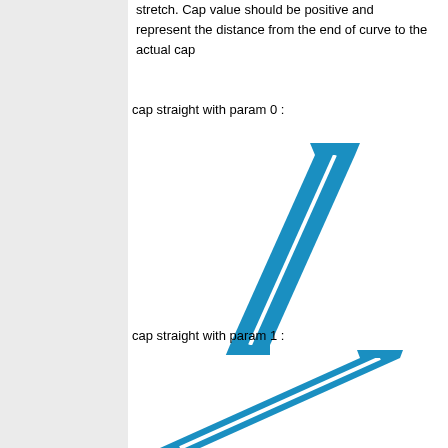stretch. Cap value should be positive and represent the distance from the end of curve to the actual cap
cap straight with param 0 :
[Figure (illustration): A diagonal blue straight line/stroke with a flat perpendicular cap at both ends, oriented from lower-left to upper-right, showing cap straight with param 0]
cap straight with param 1 :
[Figure (illustration): A diagonal blue straight line/stroke with a flat perpendicular cap at both ends with param 1, oriented from lower-left to upper-right, similar to previous but with slightly different cap geometry]